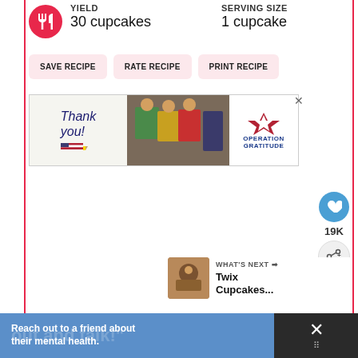YIELD 30 cupcakes
SERVING SIZE 1 cupcake
SAVE RECIPE
RATE RECIPE
PRINT RECIPE
[Figure (photo): Operation Gratitude advertisement banner showing 'Thank you!' text with American flag pencil and healthcare workers holding packages]
19K
WHAT'S NEXT → Twix Cupcakes...
[Figure (photo): Thumbnail image of Twix Cupcakes]
Reach out to a friend about their mental health.